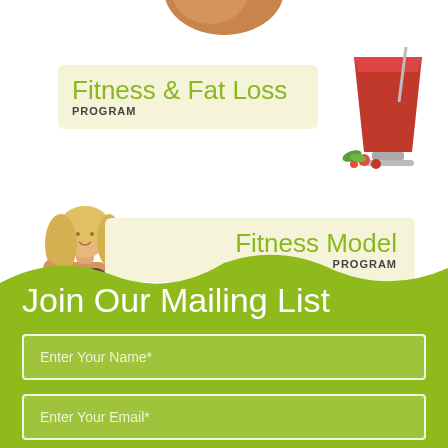[Figure (illustration): Cropped food item at top of page (bread/pastry, partially visible)]
[Figure (illustration): Red berry smoothie drink in a glass with raspberries and mint leaves]
Fitness & Fat Loss
PROGRAM
[Figure (photo): Blonde fitness model woman in dark bikini posed at left side]
Fitness Model
PROGRAM
Join Our Mailing List
Enter Your Name*
Enter Your Email*